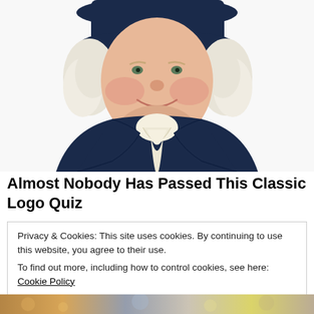[Figure (illustration): Illustration of the Quaker Oats man mascot — a smiling, rosy-cheeked man wearing a wide-brimmed navy hat with white curly hair, dressed in a dark navy colonial-style coat with a large white ruffled cravat, shown from the chest up against a white background.]
Almost Nobody Has Passed This Classic Logo Quiz
Privacy & Cookies: This site uses cookies. By continuing to use this website, you agree to their use.
To find out more, including how to control cookies, see here: Cookie Policy
[Figure (photo): Partial bottom strip showing a blurred colorful photo, likely a store or shopping scene.]